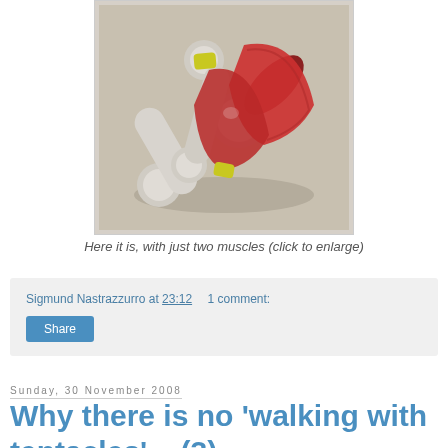[Figure (illustration): 3D rendered anatomical illustration showing two muscles (red) attached to grey bone-like structures with yellow connectors, on a grey background]
Here it is, with just two muscles (click to enlarge)
Sigmund Nastrazzurro at 23:12   1 comment:
Share
Sunday, 30 November 2008
Why there is no 'walking with tentacles'... (3)